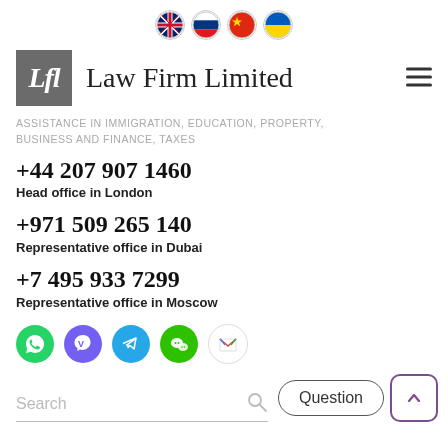[Figure (other): Language selector flags: UK, Russia, China, Ukraine in circular borders]
[Figure (logo): Law Firm Limited logo: grey square with Lfl initials and firm name text]
ASSISTANCE IN IMMIGRATION, EDUCATION, PROPERTY, BUSINESS AND FINANCE, TAXES
+44 207 907 1460
Head office in London
+971 509 265 140
Representative office in Dubai
+7 495 933 7299
Representative office in Moscow
[Figure (other): Social media icons: WhatsApp (green), Viber (purple), Telegram (blue), WeChat (green), Gmail (white)]
Search
Question